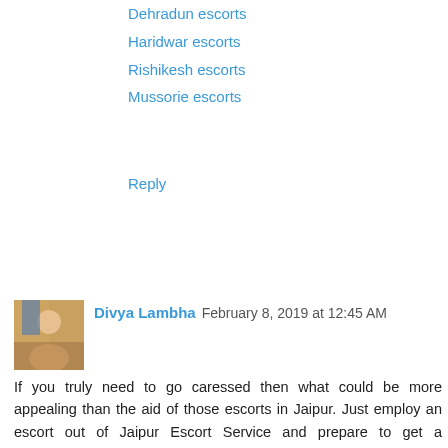Dehradun escorts
Haridwar escorts
Rishikesh escorts
Mussorie escorts
Reply
Divya Lambha  February 8, 2019 at 12:45 AM
If you truly need to go caressed then what could be more appealing than the aid of those escorts in Jaipur. Just employ an escort out of Jaipur Escort Service and prepare to get a challenging drive in the business of the magic beauties. All these gorgeous ladies won't just guarantee you sleepless evenings but may also provide you a few of the won't unforgettable moments on your lifetime.
Jaipur escorts
Escorts in Jaipur
Jaipur escorts service
Udaipur escorts
Jodhpur escorts
Ajmer escorts
jaisalmer escorts